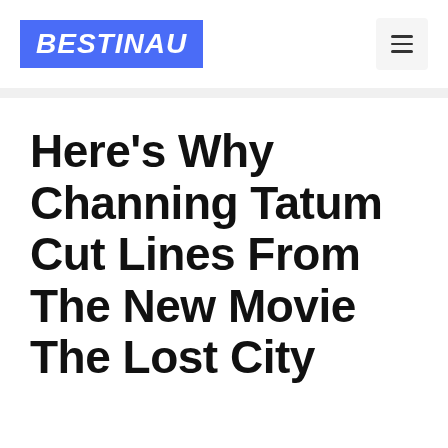BESTINAU
Here's Why Channing Tatum Cut Lines From The New Movie The Lost City